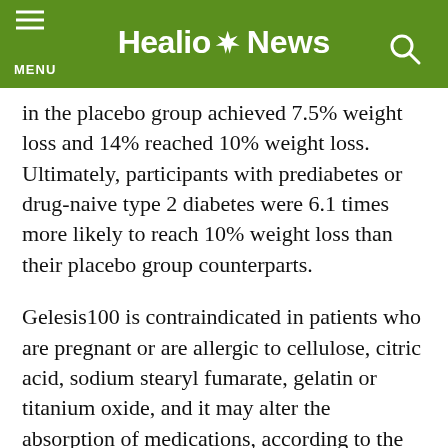Healio News
in the placebo group achieved 7.5% weight loss and 14% reached 10% weight loss. Ultimately, participants with prediabetes or drug-naive type 2 diabetes were 6.1 times more likely to reach 10% weight loss than their placebo group counterparts.
Gelesis100 is contraindicated in patients who are pregnant or are allergic to cellulose, citric acid, sodium stearyl fumarate, gelatin or titanium oxide, and it may alter the absorption of medications, according to the company. The most commonly reported adverse events across trials were gastrointestinal.
Gelesis plans to initiate a targeted U.S. launch of the drug in the second half of 2019 and anticipates